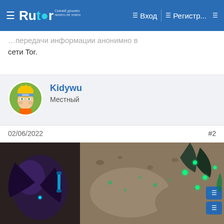Rutor — navigation bar with Вход and Регистр... buttons
сети Tor.
Kidywu
Местный
02/06/2022   #2
[Figure (screenshot): Screenshot of a fantasy/sci-fi video game showing a character with green glowing orbs in a rocky environment]